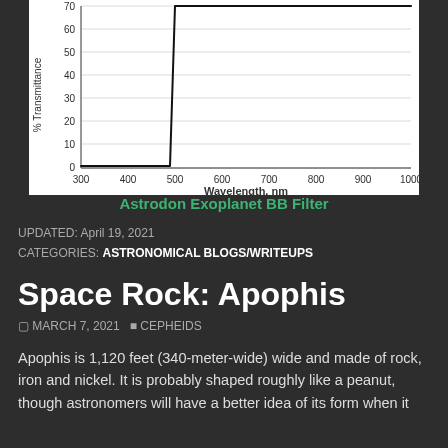[Figure (continuous-plot): Transmission spectrum chart for Astrodon Exoplanet BB Filter. Y-axis: % Transmittance (0 to 70+). X-axis: Wavelength, nm (300 to 1000). The curve is near 0% from 300 to ~490 nm, then rises sharply to ~70% at ~500 nm, then stays flat at ~70% through 1000 nm.]
Astrodon Exoplanet BB Filter
UPDATED: April 19, 2021
CATEGORIES: ASTRONOMICAL BLOGS/WRITEUPS
Space Rock: Apophis
MARCH 7, 2021   CEPHEIDS
Apophis is 1,120 feet (340-meter-wide) wide and made of rock, iron and nickel. It is probably shaped roughly like a peanut, though astronomers will have a better idea of its form when it